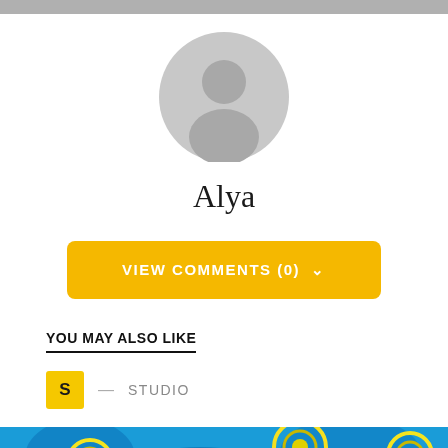[Figure (illustration): Grey top navigation bar]
[Figure (illustration): Generic grey user avatar/profile icon — circular silhouette with head and shoulders]
Alya
VIEW COMMENTS (0)
YOU MAY ALSO LIKE
S — STUDIO
[Figure (illustration): Colorful painting in Van Gogh Starry Night style — swirling blue and teal background with bright yellow circular spiral shapes]